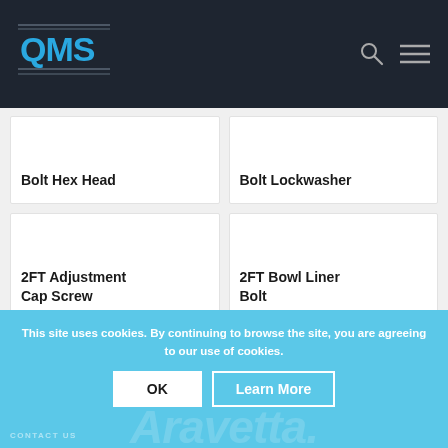[Figure (logo): QMS logo in blue text with decorative lines on dark background header]
Bolt Hex Head
Bolt Lockwasher
2FT Adjustment Cap Screw Spanner
2FT Bowl Liner Bolt
This site uses cookies. By continuing to browse the site, you are agreeing to our use of cookies.
OK
Learn More